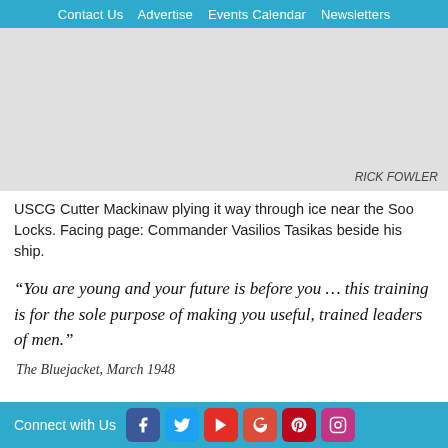Contact Us   Advertise   Events Calendar   Newsletters
[Figure (photo): Gray placeholder area representing a photo of USCG Cutter Mackinaw with photo credit RICK FOWLER]
USCG Cutter Mackinaw plying it way through ice near the Soo Locks. Facing page: Commander Vasilios Tasikas beside his ship.
“You are young and your future is before you … this training is for the sole purpose of making you useful, trained leaders of men.”
The Bluejacket, March 1948
Connect with Us